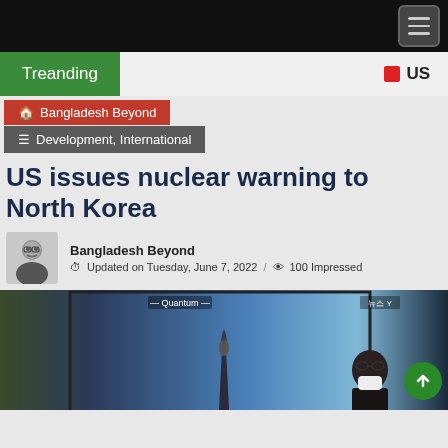Treanding
US
🏠 Bangladesh Beyond
≡ Development, International
US issues nuclear warning to North Korea
Bangladesh Beyond
Updated on Tuesday, June 7, 2022 / 100 Impressed
[Figure (photo): News broadcast screenshot showing a missile launch with 'Quantum' label visible at top, a person in mask visible on right side]